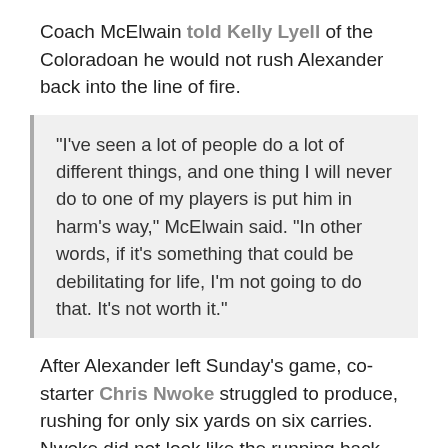Coach McElwain told Kelly Lyell of the Coloradoan he would not rush Alexander back into the line of fire.
"I've seen a lot of people do a lot of different things, and one thing I will never do to one of my players is put him in harm's way," McElwain said. "In other words, if it's something that could be debilitating for life, I'm not going to do that. It's not worth it."
After Alexander left Sunday's game, co-starter Chris Nwoke struggled to produce, rushing for only six yards on six carries. Nwoke did not look like the running back who rushed for over 1000 yards in 2011, and will most likely lose carries to breakout player Kapri Bibbs. In his first game with Colorado State after transferring from Snow College, Bibbs showed his balance of